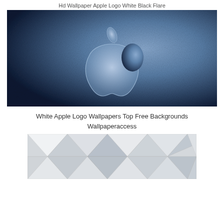Hd Wallpaper Apple Logo White Black Flare
[Figure (photo): Apple logo on a dark-to-light blue metallic/grainy gradient background wallpaper. The Apple logo is rendered in a silver-blue translucent style centered in the image.]
White Apple Logo Wallpapers Top Free Backgrounds Wallpaperaccess
[Figure (photo): Abstract low-poly geometric shapes in white and light gray tones, forming a faceted triangular pattern background.]